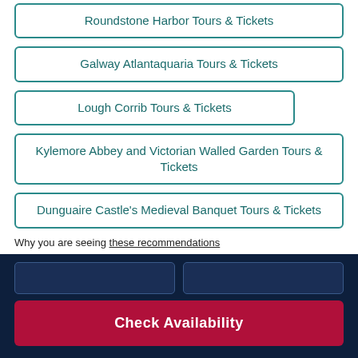Roundstone Harbor Tours & Tickets
Galway Atlantaquaria Tours & Tickets
Lough Corrib Tours & Tickets
Kylemore Abbey and Victorian Walled Garden Tours & Tickets
Dunguaire Castle's Medieval Banquet Tours & Tickets
Why you are seeing these recommendations
Check Availability